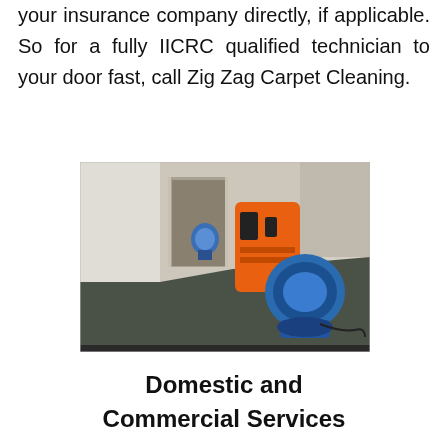your insurance company directly, if applicable. So for a fully IICRC qualified technician to your door fast, call Zig Zag Carpet Cleaning.
[Figure (photo): A corridor with dark carpet and white walls. An orange industrial dehumidifier and a blue air mover fan are placed in the hallway. A smaller blue fan is visible further down the corridor.]
Domestic and Commercial Services